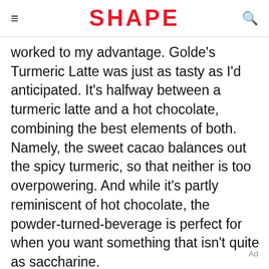SHAPE
worked to my advantage. Golde's Turmeric Latte was just as tasty as I'd anticipated. It's halfway between a turmeric latte and a hot chocolate, combining the best elements of both. Namely, the sweet cacao balances out the spicy turmeric, so that neither is too overpowering. And while it's partly reminiscent of hot chocolate, the powder-turned-beverage is perfect for when you want something that isn't quite as saccharine.
Ad